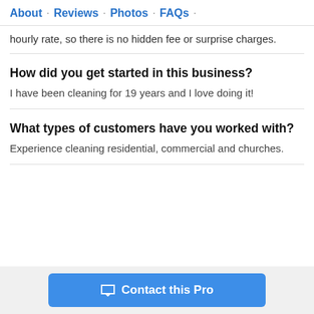About · Reviews · Photos · FAQs ·
hourly rate, so there is no hidden fee or surprise charges.
How did you get started in this business?
I have been cleaning for 19 years and I love doing it!
What types of customers have you worked with?
Experience cleaning residential, commercial and churches.
Contact this Pro